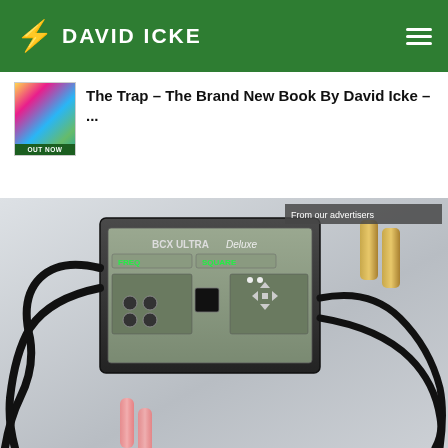DAVID ICKE
The Trap – The Brand New Book By David Icke – ...
[Figure (photo): BCX Ultra Deluxe Rife frequency device with black cables and accessories including brass cylinders and glowing tubes on a white surface]